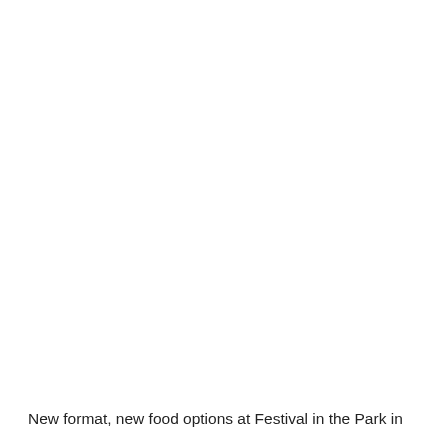New format, new food options at Festival in the Park in